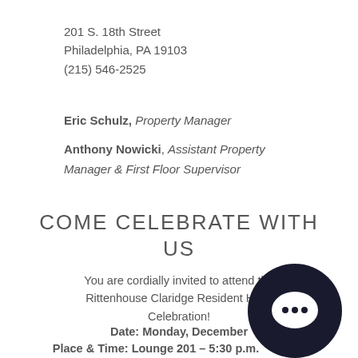201 S. 18th Street
Philadelphia, PA 19103
(215) 546-2525
Eric Schulz, Property Manager
Anthony Nowicki, Assistant Property Manager & First Floor Supervisor
COME CELEBRATE WITH US
You are cordially invited to attend the Rittenhouse Claridge Resident Holiday Celebration!
Date: Monday, December [obscured]
Place & Time: Lounge 201 – 5:30 p.m.